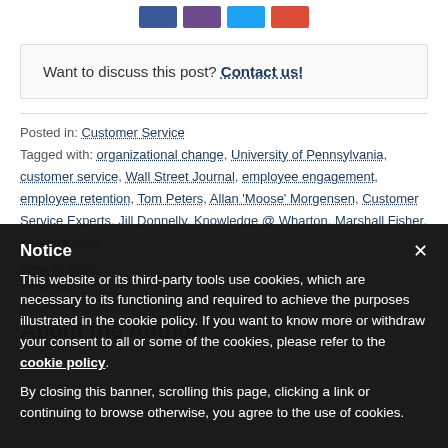[Figure (other): Social sharing buttons: Facebook (blue), LinkedIn (purple), Twitter (light blue), Google+ (red)]
Want to discuss this post? Contact us!
Posted in: Customer Service
Tagged with: organizational change, University of Pennsylvania, customer service, Wall Street Journal, employee engagement, employee retention, Tom Peters, Allan 'Moose' Morgensen, Customer Service Experts, Jill Donnelly, Knowledge @ Wharton, Marshall Fisher, Fabian Kelley
View all posts
View next
We Need to Apply Quality Improvement Lessons to Safety
About the Author
Notice
This website or its third-party tools use cookies, which are necessary to its functioning and required to achieve the purposes illustrated in the cookie policy. If you want to know more or withdraw your consent to all or some of the cookies, please refer to the cookie policy.
By closing this banner, scrolling this page, clicking a link or continuing to browse otherwise, you agree to the use of cookies.